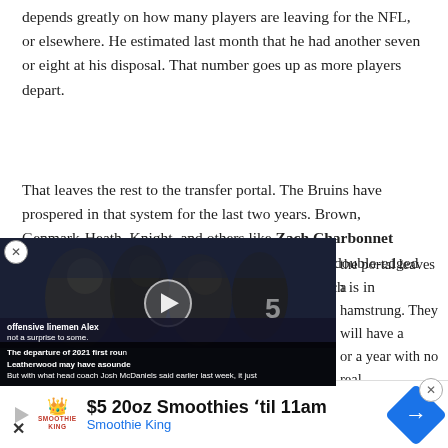depends greatly on how many players are leaving for the NFL, or elsewhere. He estimated last month that he had another seven or eight at his disposal. That number goes up as more players depart.
That leaves the rest to the transfer portal. The Bruins have prospered in that system for the last two years. Brown, Genmark-Heath, Knight, and others like Zach Charbonnet have been productive assets for UCLA. But it is a double-edged sword, particularly for a program whose head coach is in [the portal leaves a] [hamstrung. They will have a] [or a year with no real] [of local recruiting classes.]
[Figure (screenshot): Embedded video thumbnail showing football players on field with overlay caption text about departure of 2021 first round pick Leatherwood and offensive lineman Alex, referencing Josh McDaniels.]
[Figure (infographic): Advertisement banner for Smoothie King: '$5 20oz Smoothies til 11am' with Smoothie King logo and blue arrow navigation button.]